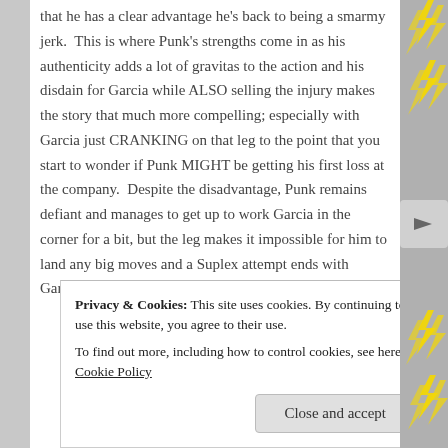that he has a clear advantage he's back to being a smarmy jerk. This is where Punk's strengths come in as his authenticity adds a lot of gravitas to the action and his disdain for Garcia while ALSO selling the injury makes the story that much more compelling; especially with Garcia just CRANKING on that leg to the point that you start to wonder if Punk MIGHT be getting his first loss at the company. Despite the disadvantage, Punk remains defiant and manages to get up to work Garcia in the corner for a bit, but the leg makes it impossible for him to land any big moves and a Suplex attempt ends with Garcia tackling the bad leg. He stomps Punk
Privacy & Cookies: This site uses cookies. By continuing to use this website, you agree to their use.
To find out more, including how to control cookies, see here: Cookie Policy